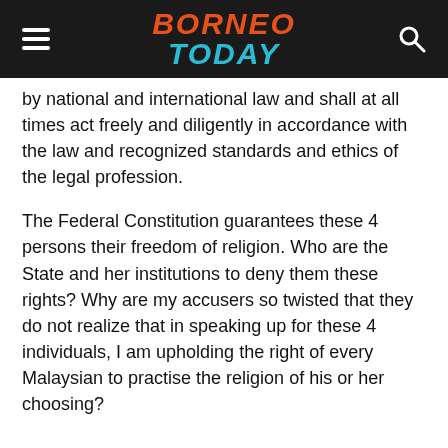BORNEO TODAY
by national and international law and shall at all times act freely and diligently in accordance with the law and recognized standards and ethics of the legal profession.
The Federal Constitution guarantees these 4 persons their freedom of religion. Who are the State and her institutions to deny them these rights? Why are my accusers so twisted that they do not realize that in speaking up for these 4 individuals, I am upholding the right of every Malaysian to practise the religion of his or her choosing?